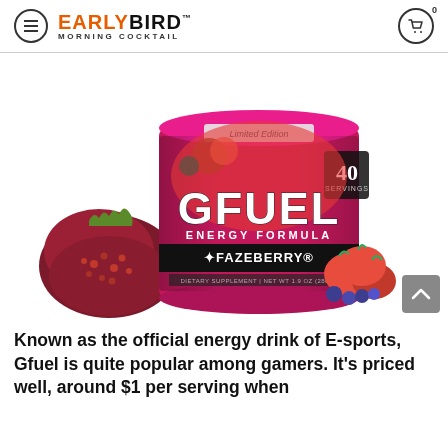EARLYBIRD MORNING COCKTAIL
[Figure (photo): G FUEL Energy Formula FaZeberry Limited Edition tub container with 40 servings, shown with pomegranate, blueberries, and strawberries around it.]
Known as the official energy drink of E-sports, Gfuel is quite popular among gamers. It's priced well, around $1 per serving when